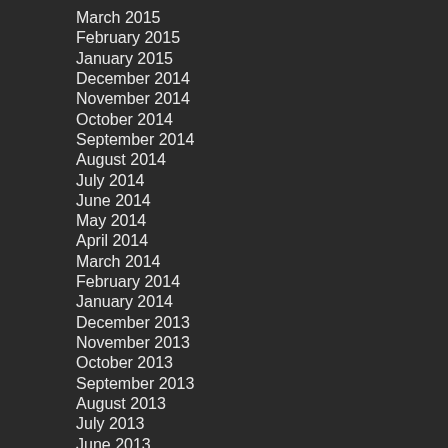March 2015
February 2015
January 2015
December 2014
November 2014
October 2014
September 2014
August 2014
July 2014
June 2014
May 2014
April 2014
March 2014
February 2014
January 2014
December 2013
November 2013
October 2013
September 2013
August 2013
July 2013
June 2013
May 2013
April 2013